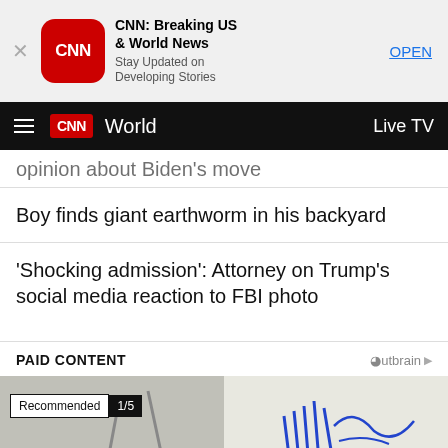[Figure (screenshot): CNN app advertisement banner with CNN logo, title 'CNN: Breaking US & World News', subtitle 'Stay Updated on Developing Stories', and OPEN button]
CNN World | Live TV
opinion about Biden's move
Boy finds giant earthworm in his backyard
'Shocking admission': Attorney on Trump's social media reaction to FBI photo
PAID CONTENT
[Figure (screenshot): Paid content thumbnail strip showing two images with 'Recommended 1/5' badge]